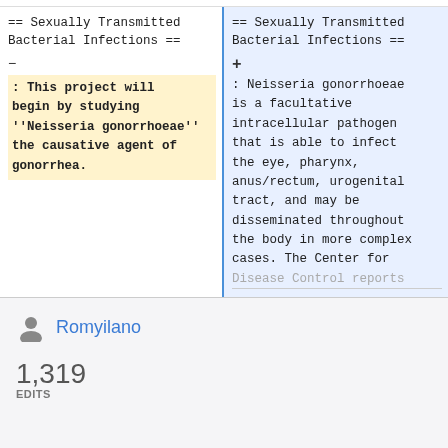== Sexually Transmitted Bacterial Infections ==
: This project will begin by studying ''Neisseria gonorrhoeae'' the causative agent of gonorrhea.
== Sexually Transmitted Bacterial Infections ==
: Neisseria gonorrhoeae is a facultative intracellular pathogen that is able to infect the eye, pharynx, anus/rectum, urogenital tract, and may be disseminated throughout the body in more complex cases. The Center for Disease Control reports
Romyilano
1,319 EDITS